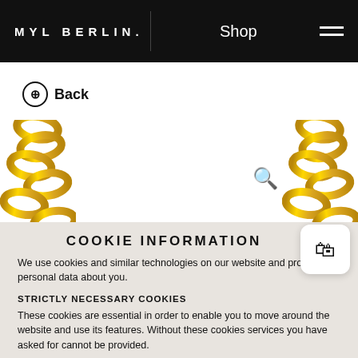MYL BERLIN. | Shop
← Back
[Figure (photo): Gold chain jewelry product photo split across left and right sides of the page with white center background. A search icon is visible on the right side.]
COOKIE INFORMATION
We use cookies and similar technologies on our website and process personal data about you.
STRICTLY NECESSARY COOKIES
These cookies are essential in order to enable you to move around the website and use its features. Without these cookies services you have asked for cannot be provided.